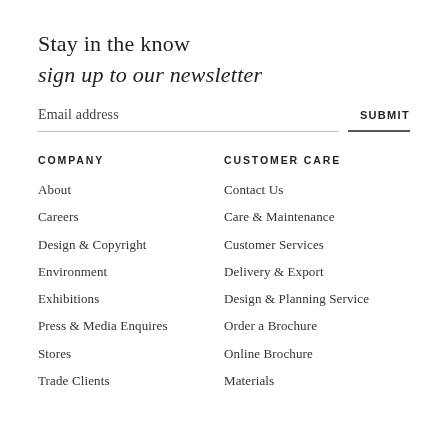Stay in the know
sign up to our newsletter
Email address    SUBMIT
COMPANY
About
Careers
Design & Copyright
Environment
Exhibitions
Press & Media Enquires
Stores
Trade Clients
CUSTOMER CARE
Contact Us
Care & Maintenance
Customer Services
Delivery & Export
Design & Planning Service
Order a Brochure
Online Brochure
Materials